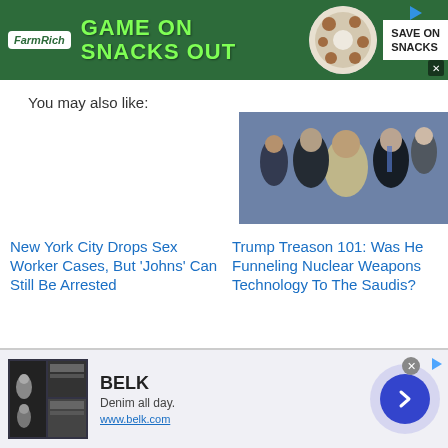[Figure (screenshot): FarmRich advertisement banner: dark green background with 'Game On Snacks Out' text in bright green, FarmRich logo, snack food image, and 'Save On Snacks' text]
You may also like:
[Figure (photo): Empty placeholder for left article image]
New York City Drops Sex Worker Cases, But 'Johns' Can Still Be Arrested
[Figure (photo): Photo of several men in formal attire, including one in white traditional robes, appearing to shake hands or interact at an event]
Trump Treason 101: Was He Funneling Nuclear Weapons Technology To The Saudis?
[Figure (screenshot): Belk advertisement banner: shows Belk logo, 'Denim all day.' tagline, www.belk.com URL, clothing images, and a blue circular arrow button]